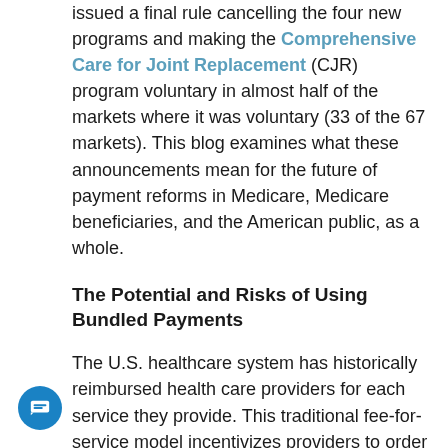issued a final rule cancelling the four new programs and making the Comprehensive Care for Joint Replacement (CJR) program voluntary in almost half of the markets where it was voluntary (33 of the 67 markets). This blog examines what these announcements mean for the future of payment reforms in Medicare, Medicare beneficiaries, and the American public, as a whole.
The Potential and Risks of Using Bundled Payments
The U.S. healthcare system has historically reimbursed health care providers for each service they provide. This traditional fee-for-service model incentivizes providers to order more treatments because payment depends on the quantity of care. CMS and many other payers, however, recognize the need to emphasize the quality of care and have begun implementing and testing alternative payment models, including shared savings, shared risk, bundled payments, and population-based payments, that reward